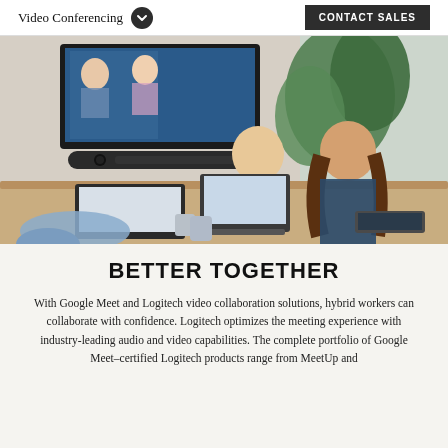Video Conferencing
CONTACT SALES
[Figure (photo): Office conference room scene with two people (a man and a woman) sitting at a wooden table with laptops, smiling and engaged in a video call displayed on a large monitor on the wall. A video conferencing camera bar is mounted below the monitor. Plants visible in the background.]
BETTER TOGETHER
With Google Meet and Logitech video collaboration solutions, hybrid workers can collaborate with confidence. Logitech optimizes the meeting experience with industry-leading audio and video capabilities. The complete portfolio of Google Meet-certified Logitech products range from MeetUp and